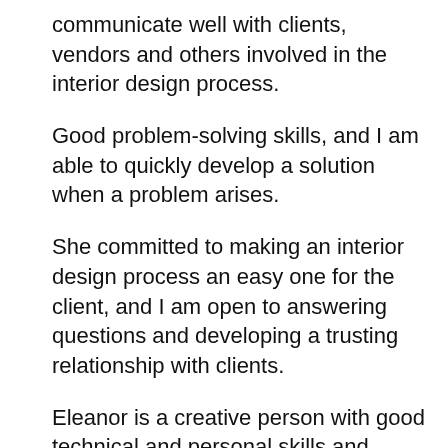communicate well with clients, vendors and others involved in the interior design process.
Good problem-solving skills, and I am able to quickly develop a solution when a problem arises.
She committed to making an interior design process an easy one for the client, and I am open to answering questions and developing a trusting relationship with clients.
Eleanor is a creative person with good technical and personal skills and competencies. A self-motivated, organized, responsible, diligent person, who wants to provide always the best result. I am attentive to client's needs and wants, th...